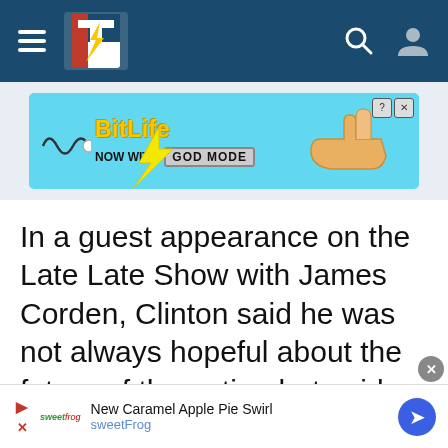Navigation bar with hamburger menu, site logo, search icon and user icon
[Figure (screenshot): BitLife advertisement banner: cyan/blue background with BitLife logo in yellow, 'NOW WITH GOD MODE' text, pointing hand graphic, lightning bolt, and close button]
In a guest appearance on the Late Late Show with James Corden, Clinton said he was not always hopeful about the future of the nation but said citizens should not react to hatred with more hatred
[Figure (screenshot): Bottom advertisement bar: sweetFrog New Caramel Apple Pie Swirl advertisement with play icon, navigation arrow, and dismiss button]